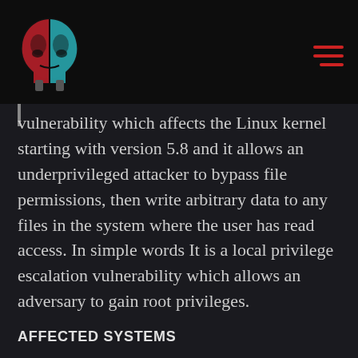[Logo and navigation menu]
vulnerability which affects the Linux kernel starting with version 5.8 and it allows an underprivileged attacker to bypass file permissions, then write arbitrary data to any files in the system where the user has read access. In simple words It is a local privilege escalation vulnerability which allows an adversary to gain root privileges.
AFFECTED SYSTEMS
Popular linux distributions like Ubuntu, Debain, RedHat are affected. Even android